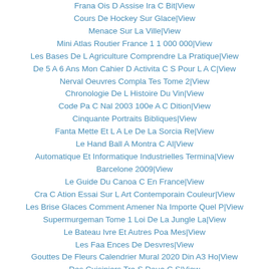Frana Ois D Assise Ira C Bit|View
Cours De Hockey Sur Glace|View
Menace Sur La Ville|View
Mini Atlas Routier France 1 1 000 000|View
Les Bases De L Agriculture Comprendre La Pratique|View
De 5 A 6 Ans Mon Cahier D Activita C S Pour L A C|View
Nerval Oeuvres Compla Tes Tome 2|View
Chronologie De L Histoire Du Vin|View
Code Pa C Nal 2003 100e A C Dition|View
Cinquante Portraits Bibliques|View
Fanta Mette Et L A Le De La Sorcia Re|View
Le Hand Ball A Montra C Al|View
Automatique Et Informatique Industrielles Termina|View
Barcelone 2009|View
Le Guide Du Canoa C En France|View
Cra C Ation Essai Sur L Art Contemporain Couleur|View
Les Brise Glaces Comment Amener Na Importe Quel P|View
Supermurgeman Tome 1 Loi De La Jungle La|View
Le Bateau Ivre Et Autres Poa Mes|View
Les Faa Ences De Desvres|View
Gouttes De Fleurs Calendrier Mural 2020 Din A3 Ho|View
Des Cuisiniers Tra S Doua C S|View
Guide Pratique Pour Mieux Skier|View